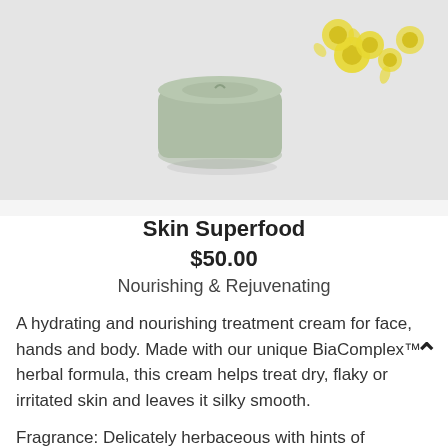[Figure (photo): Product photo of a green skincare cream jar with yellow flowers scattered around it, on a light gray background]
Skin Superfood
$50.00
Nourishing & Rejuvenating
A hydrating and nourishing treatment cream for face, hands and body. Made with our unique BiaComplex™ herbal formula, this cream helps treat dry, flaky or irritated skin and leaves it silky smooth.
Fragrance: Delicately herbaceous with hints of Immortelle.
Skin types: All skin types.
BiaComplex™: provides hydration, soothing and